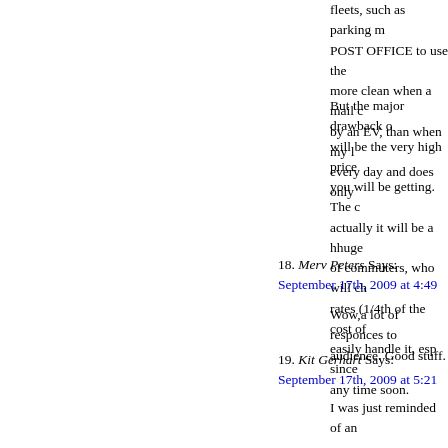fleets, such as parking m... POST OFFICE to use the... more clean when a mail c... by an EV, than when my l... every day and does only
But the major drawback c... will be the very high price... you will be getting. The c... actually it will be a hhuge... of commuters, who will ch... rates (1/4th of the cost of... easily handle it, esp since... any time soon.
18. Merv Peters Says:
September 17th, 2009 at 4:49
Wow,a lot of responces to... audience. Good stuff.
19. Kit Gerhart Says:
September 17th, 2009 at 5:21
I was just reminded of an... meters. For reasons beyo... uses large pickup trucks f... for a driver and his electro... volume sale should have
20. John Says:
September 17th, 2009 at 5:57
Hey Kit,